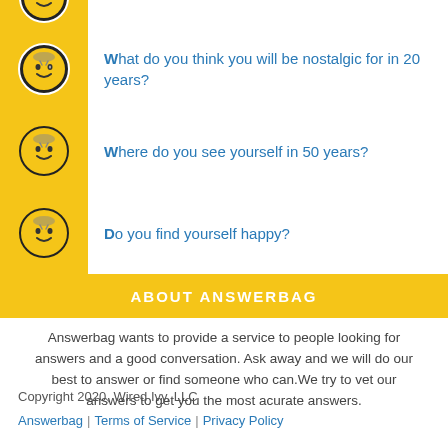What do you think you will be nostalgic for in 20 years?
Where do you see yourself in 50 years?
Do you find yourself happy?
ABOUT ANSWERBAG
Answerbag wants to provide a service to people looking for answers and a good conversation. Ask away and we will do our best to answer or find someone who can.We try to vet our answers to get you the most acurate answers.
Copyright 2020, Wired Ivy, LLC
Answerbag | Terms of Service | Privacy Policy